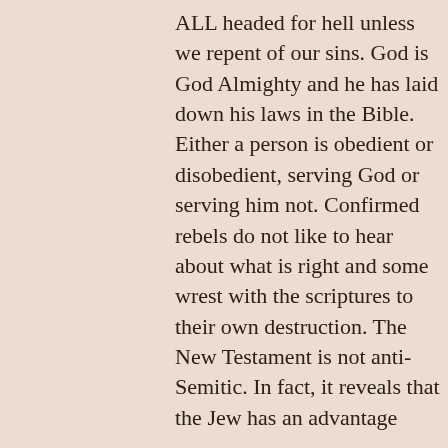ALL headed for hell unless we repent of our sins. God is God Almighty and he has laid down his laws in the Bible. Either a person is obedient or disobedient, serving God or serving him not. Confirmed rebels do not like to hear about what is right and some wrest with the scriptures to their own destruction. The New Testament is not anti-Semitic. In fact, it reveals that the Jew has an advantage